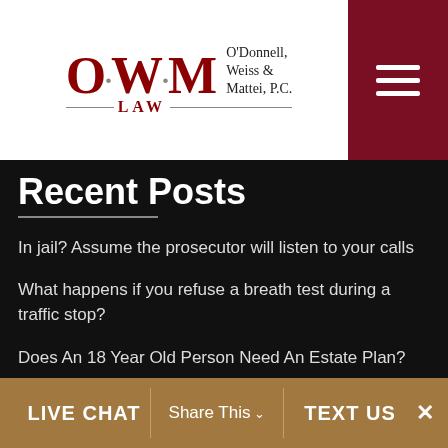[Figure (logo): O.W.M LAW logo for O'Donnell, Weiss & Mattei, P.C. with dark red hamburger menu button]
Recent Posts
In jail? Assume the prosecutor will listen to your calls
What happens if you refuse a breath test during a traffic stop?
Does An 18 Year Old Person Need An Estate Plan?
3 contingencies that can protect your earnest deposit money
3 further reasons to update your Pennsylvania will or estate plan
LIVE CHAT   Share This   TEXT US   ×